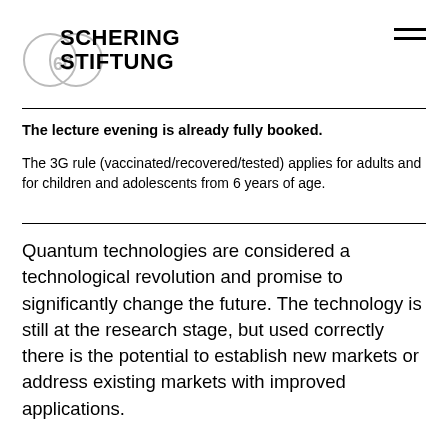SCHERING STIFTUNG
The lecture evening is already fully booked.
The 3G rule (vaccinated/recovered/tested) applies for adults and for children and adolescents from 6 years of age.
Quantum technologies are considered a technological revolution and promise to significantly change the future. The technology is still at the research stage, but used correctly there is the potential to establish new markets or address existing markets with improved applications.